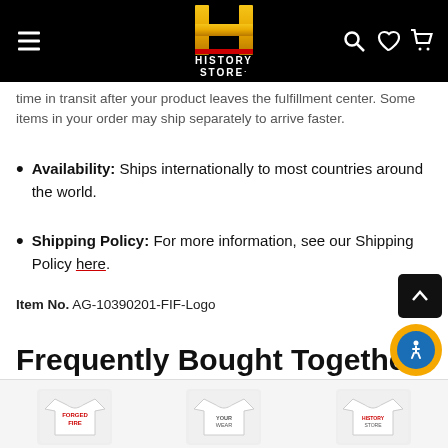HISTORY STORE
time in transit after your product leaves the fulfillment center. Some items in your order may ship separately to arrive faster.
Availability: Ships internationally to most countries around the world.
Shipping Policy: For more information, see our Shipping Policy here.
Item No. AG-10390201-FIF-Logo
Frequently Bought Together
[Figure (screenshot): Bottom product strip showing three t-shirt product thumbnails labeled Forged Fire and other products]